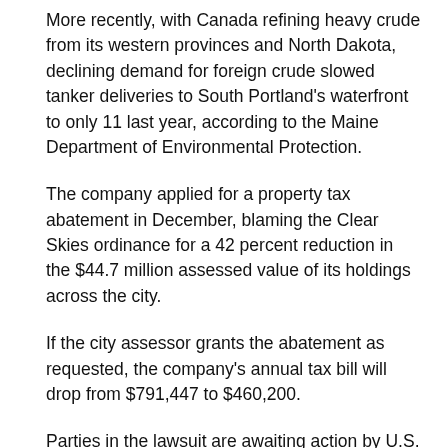More recently, with Canada refining heavy crude from its western provinces and North Dakota, declining demand for foreign crude slowed tanker deliveries to South Portland's waterfront to only 11 last year, according to the Maine Department of Environmental Protection.
The company applied for a property tax abatement in December, blaming the Clear Skies ordinance for a 42 percent reduction in the $44.7 million assessed value of its holdings across the city.
If the city assessor grants the abatement as requested, the company's annual tax bill will drop from $791,447 to $460,200.
Parties in the lawsuit are awaiting action by U.S. District Judge John Woodcock Jr. to determine whether the lawsuit will go to trial this spring in Portland.